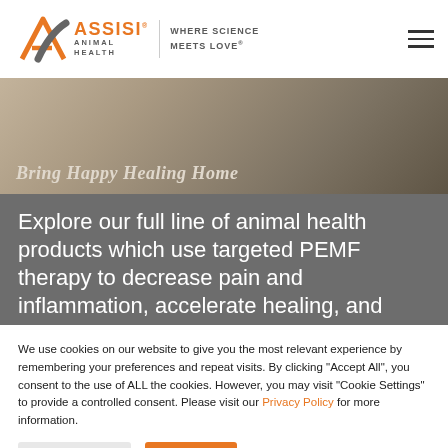[Figure (logo): Assisi Animal Health logo with orange A symbol, text 'ASSISI ANIMAL HEALTH' and tagline 'WHERE SCIENCE MEETS LOVE']
[Figure (photo): Hero banner with italic text 'Bring Happy Healing Home' overlaid on a warm-toned animal/nature background]
Explore our full line of animal health products which use targeted PEMF therapy to decrease pain and inflammation, accelerate healing, and
We use cookies on our website to give you the most relevant experience by remembering your preferences and repeat visits. By clicking "Accept All", you consent to the use of ALL the cookies. However, you may visit "Cookie Settings" to provide a controlled consent. Please visit our Privacy Policy for more information.
Cookie Settings | Accept All